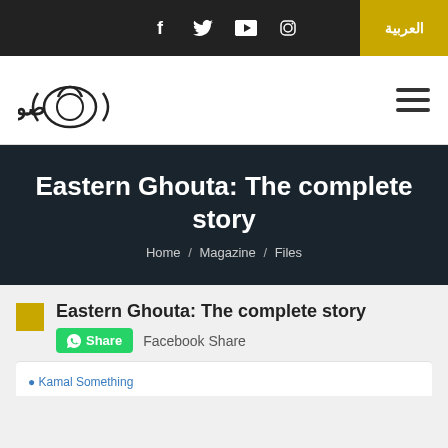f  twitter  youtube  instagram  العربية
[Figure (logo): Arabic text logo resembling a camera shape]
Eastern Ghouta: The complete story
Home / Magazine / Files
Eastern Ghouta: The complete story
Share  Facebook Share